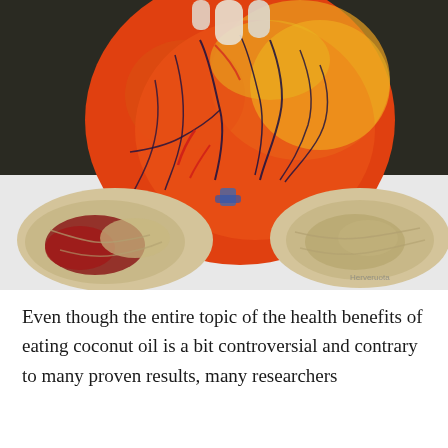[Figure (photo): A photograph of anatomical heart model (orange/red colored) held upright, with two cross-sectional kidney or heart valve models laid flat on a white surface below it. One cross-section on the left shows red/crimson coloring, the right one is beige/tan. A small watermark 'Herveruota' is visible in the lower right corner.]
Even though the entire topic of the health benefits of eating coconut oil is a bit controversial and contrary to many proven results, many researchers